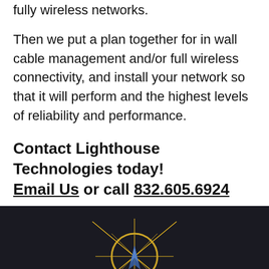fully wireless networks.
Then we put a plan together for in wall cable management and/or full wireless connectivity, and install your network so that it will perform and the highest levels of reliability and performance.
Contact Lighthouse Technologies today! Email Us or call 832.605.6924
[Figure (logo): Lighthouse Technologies logo on dark background — a compass/star graphic with gold circle and blue arrow, with the word LIGHTHOUSE in spaced letters below]
[Figure (other): Google Maps / privacy badge with blue globe and arrow icon, showing Privacy · Terms text]